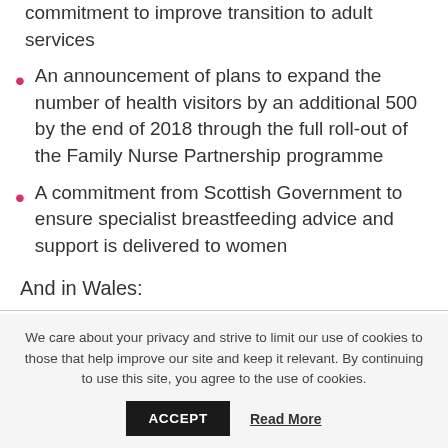commitment to improve transition to adult services
An announcement of plans to expand the number of health visitors by an additional 500 by the end of 2018 through the full roll-out of the Family Nurse Partnership programme
A commitment from Scottish Government to ensure specialist breastfeeding advice and support is delivered to women
And in Wales:
We care about your privacy and strive to limit our use of cookies to those that help improve our site and keep it relevant. By continuing to use this site, you agree to the use of cookies.
ACCEPT   Read More